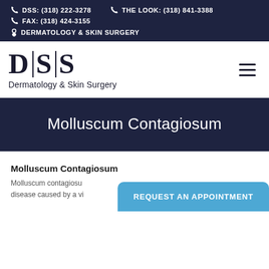DSS: (318) 222-3278  THE LOOK: (318) 841-3388  FAX: (318) 424-3155  DERMATOLOGY & SKIN SURGERY
[Figure (logo): DSS Dermatology & Skin Surgery logo with large serif DSS letters separated by vertical bars, and subtitle 'Dermatology & Skin Surgery']
Molluscum Contagiosum
Molluscum Contagiosum
Molluscum contagiosum is a common skin disease caused by a vi...